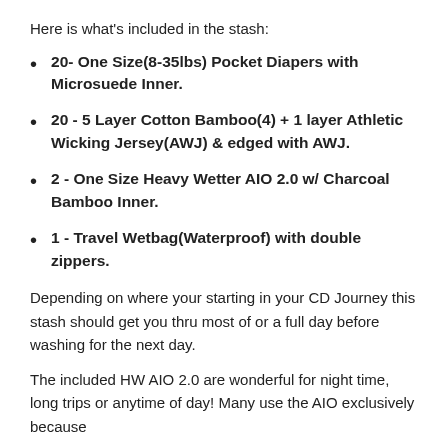Here is what's included in the stash:
20- One Size(8-35lbs) Pocket Diapers with Microsuede Inner.
20 - 5 Layer Cotton Bamboo(4) + 1 layer Athletic Wicking Jersey(AWJ) & edged with AWJ.
2 - One Size Heavy Wetter AIO 2.0 w/ Charcoal Bamboo Inner.
1 - Travel Wetbag(Waterproof) with double zippers.
Depending on where your starting in your CD Journey this stash should get you thru most of or a full day before washing for the next day.
The included HW AIO 2.0 are wonderful for night time, long trips or anytime of day! Many use the AIO exclusively because